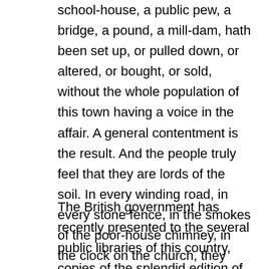school-house, a public pew, a bridge, a pound, a mill-dam, hath been set up, or pulled down, or altered, or bought, or sold, without the whole population of this town having a voice in the affair. A general contentment is the result. And the people truly feel that they are lords of the soil. In every winding road, in every stone fence, in the smokes of the poor-house chimney, in the clock on the church, they read their own power, and consider, at leisure, the wisdom and error of their judgments.
The British government has recently presented to the several public libraries of this country, copies of the splendid edition of the Domesday